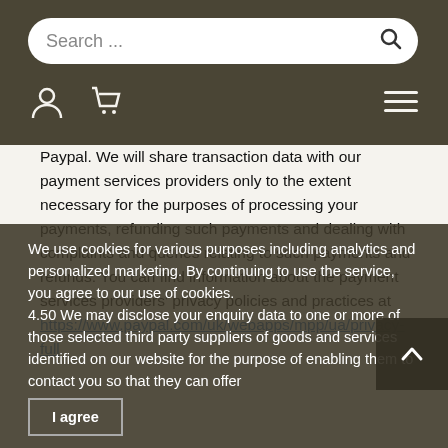Search ...
Paypal. We will share transaction data with our payment services providers only to the extent necessary for the purposes of processing your payments, refunding such payments and dealing with complaints and queries relating to such payments and refunds. You can find information about the payment services providers' privacy policies and practices at https://www.paypal.com/uk/webapps/mpp/ua/privacy-full
4.50 We may disclose your enquiry data to one or more of those selected third party suppliers of goods and services identified on our website for the purpose of enabling them to contact you so that they can offer
We use cookies for various purposes including analytics and personalized marketing. By continuing to use the service, you agree to our use of cookies.
I agree